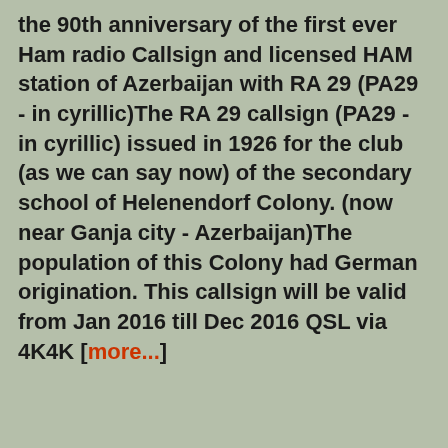the 90th anniversary of the first ever Ham radio Callsign and licensed HAM station of Azerbaijan with RA 29 (PA29 - in cyrillic)The RA 29 callsign (PA29 - in cyrillic) issued in 1926 for the club (as we can say now) of the secondary school of Helenendorf Colony. (now near Ganja city - Azerbaijan)The population of this Colony had German origination. This callsign will be valid from Jan 2016 till Dec 2016 QSL via 4K4K [more...]
[Figure (other): Warning triangle icon with exclamation mark, gray colored]